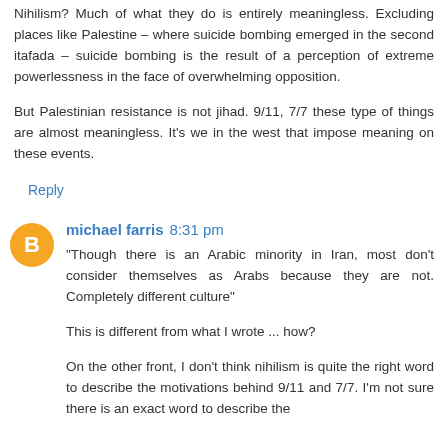Nihilism? Much of what they do is entirely meaningless. Excluding places like Palestine – where suicide bombing emerged in the second itafada – suicide bombing is the result of a perception of extreme powerlessness in the face of overwhelming opposition.
But Palestinian resistance is not jihad. 9/11, 7/7 these type of things are almost meaningless. It's we in the west that impose meaning on these events.
Reply
michael farris 8:31 pm
"Though there is an Arabic minority in Iran, most don't consider themselves as Arabs because they are not. Completely different culture"
This is different from what I wrote ... how?
On the other front, I don't think nihilism is quite the right word to describe the motivations behind 9/11 and 7/7. I'm not sure there is an exact word to describe the